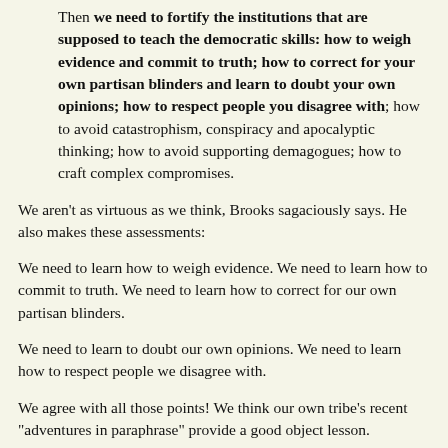Then we need to fortify the institutions that are supposed to teach the democratic skills: how to weigh evidence and commit to truth; how to correct for your own partisan blinders and learn to doubt your own opinions; how to respect people you disagree with; how to avoid catastrophism, conspiracy and apocalyptic thinking; how to avoid supporting demagogues; how to craft complex compromises.
We aren't as virtuous as we think, Brooks sagaciously says. He also makes these assessments:
We need to learn how to weigh evidence. We need to learn how to commit to truth. We need to learn how to correct for our own partisan blinders.
We need to learn to doubt our own opinions. We need to learn how to respect people we disagree with.
We agree with all those points! We think our own tribe's recent "adventures in paraphrase" provide a good object lesson.